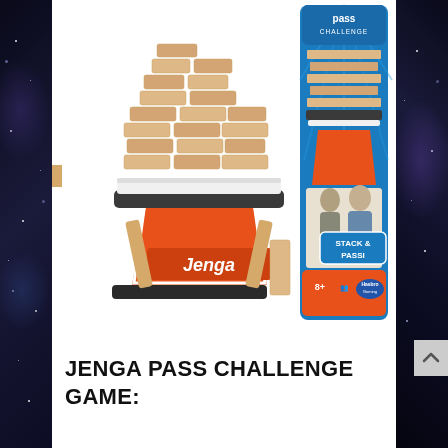[Figure (photo): Product photo showing Jenga Pass Challenge Game — left side shows the assembled game with orange and white stand holding a tower of wooden blocks with 'Jenga' branding on the base; a single wooden block stands beside it. Right side shows the product box with 'pass challenge' logo at top, the game inside visible, two people playing shown on the box, with 'STACK & PASSI' text, age rating 8+, and Hasbro Gaming logo.]
JENGA PASS CHALLENGE GAME: